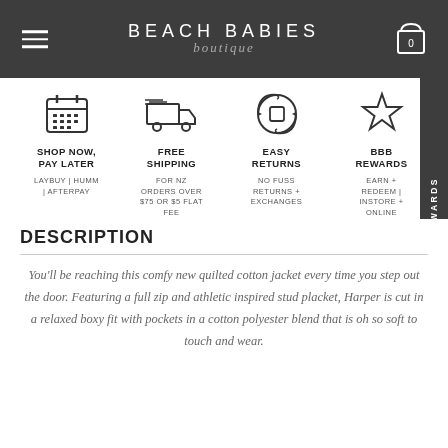Beach Babies Boutique — navigation header with hamburger menu and cart icon
[Figure (infographic): Four feature icons and labels: calendar (Shop Now Pay Later), delivery truck (Free Shipping), refresh arrows around box (Easy Returns), star outline (BBB Rewards)]
SHOP NOW, PAY LATER — LAYBUY | HUMM | AFTERPAY
FREE SHIPPING — FOR NZ ORDERS OVER $75 OR $5 FLAT FEE
EASY RETURNS — NO FUSS RETURNS + EXCHANGES
BBB REWARDS — EARN + REDEEM | INSTORE + ONLINE
DESCRIPTION
You'll be reaching this comfy new quilted cotton jacket every time you step out the door. Featuring a full zip and athletic inspired stud placket, Harper is cut in a relaxed boxy fit with pockets in a cotton polyester blend that is oh so soft to touch and wear.